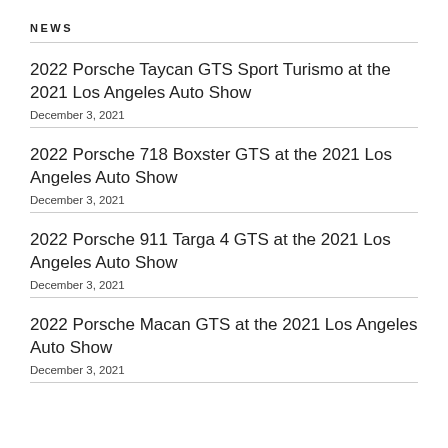NEWS
2022 Porsche Taycan GTS Sport Turismo at the 2021 Los Angeles Auto Show
December 3, 2021
2022 Porsche 718 Boxster GTS at the 2021 Los Angeles Auto Show
December 3, 2021
2022 Porsche 911 Targa 4 GTS at the 2021 Los Angeles Auto Show
December 3, 2021
2022 Porsche Macan GTS at the 2021 Los Angeles Auto Show
December 3, 2021